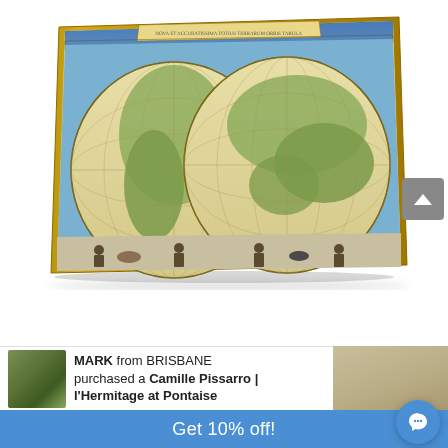[Figure (map): Antique double-hemisphere world map canvas print shown at an angle, with decorative border featuring mythological figures, cherubs, and allegorical scenes. The map shows the Eastern and Western hemispheres with grid lines, in aged parchment tones with blue oceans.]
[Figure (screenshot): Gray scroll-up button with upward-pointing chevron arrow on the right side of the page.]
[Figure (photo): Thumbnail of a Camille Pissarro painting showing a pastoral countryside scene, green tones, used in notification popup.]
MARK from BRISBANE purchased a Camille Pissarro | l'Hermitage at Pontaise
Get 10% off!